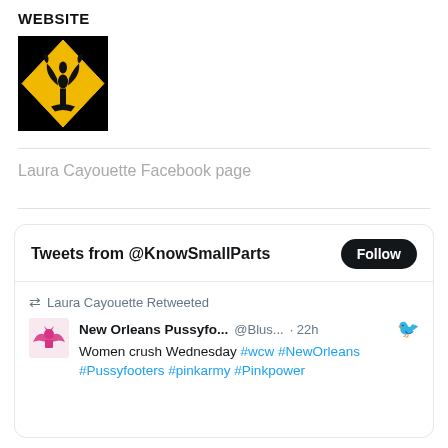WEBSITE
[Figure (logo): Black diamond shape with yellow outline containing a fleur-de-lis symbol in the center]
Laura Cayouette Facebook page
[Figure (screenshot): Twitter widget showing Tweets from @KnowSmallParts with a Follow button. Contains a retweet by Laura Cayouette from New Orleans Pussyfo... @Blus... 22h: Women crush Wednesday #wcw #NewOrleans #Pussyfooters #pinkarmy #Pinkpower]